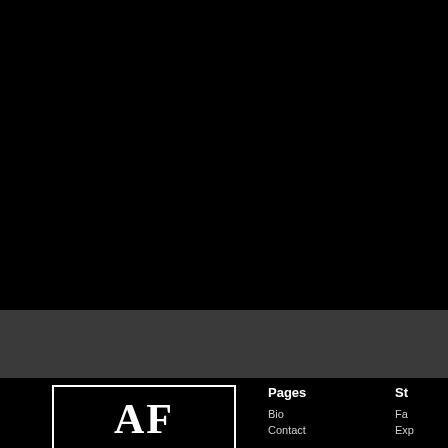[Figure (photo): Large black area covering the top portion of the page, appears to be a dark/black image or video frame]
[Figure (logo): AF logo in white serif letters inside a white rectangular border on a black background]
Pages
Bio
Contact
St
Fa
Exp